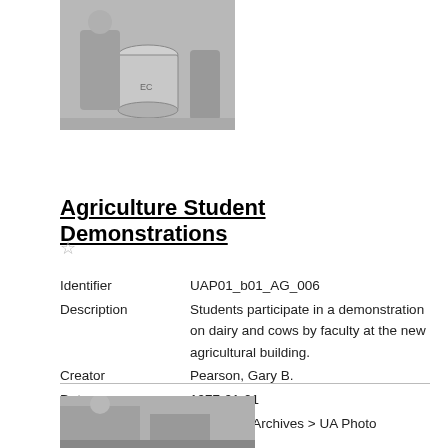[Figure (photo): Black and white photo of students with a large metal canister, likely a dairy demonstration]
Agriculture Student Demonstrations
☆
Identifier    UAP01_b01_AG_006
Description  Students participate in a demonstration on dairy and cows by faculty at the new agricultural building.
Creator       Pearson, Gary B.
Date            1977-01-01
Categories  University Archives > UA Photo
[Figure (photo): Black and white photo partially visible at the bottom of the page]